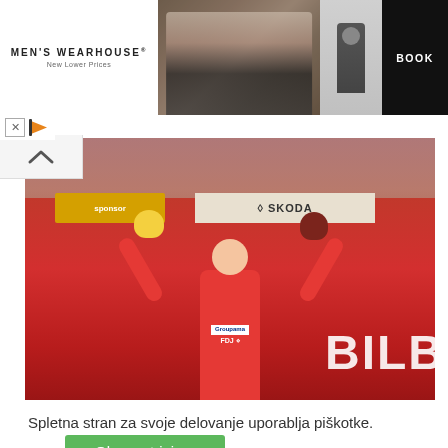[Figure (photo): Men's Wearhouse advertisement banner showing a couple in formal wear on the left, and a man in a suit on the right with a BOOK button]
[Figure (photo): Cyclist in red jersey celebrating on podium, holding stuffed toys, with BILBAO text in background and Groupama FDJ sponsor logos]
Spletna stran za svoje delovanje uporablja piškotke.
Ok, se strinjam